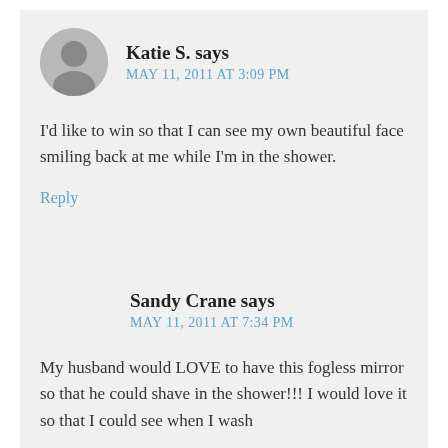Katie S. says
MAY 11, 2011 AT 3:09 PM
I'd like to win so that I can see my own beautiful face smiling back at me while I'm in the shower.
Reply
Sandy Crane says
MAY 11, 2011 AT 7:34 PM
My husband would LOVE to have this fogless mirror so that he could shave in the shower!!! I would love it so that I could see when I wash